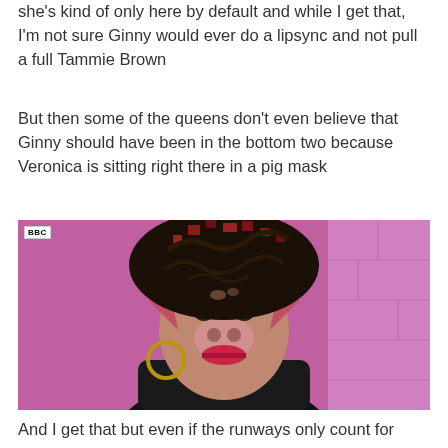she's kind of only here by default and while I get that, I'm not sure Ginny would ever do a lipsync and not pull a full Tammie Brown
But then some of the queens don't even believe that Ginny should have been in the bottom two because Veronica is sitting right there in a pig mask
[Figure (photo): A drag queen wearing an elaborate pig mask with a large dark curly wig adorned with mosaic-like decorations, pink pig ears, and heavy makeup including a pig nose. BBC watermark visible in top left corner. Background shows pink walls of what appears to be a TV studio set.]
And I get that but even if the runways only count for